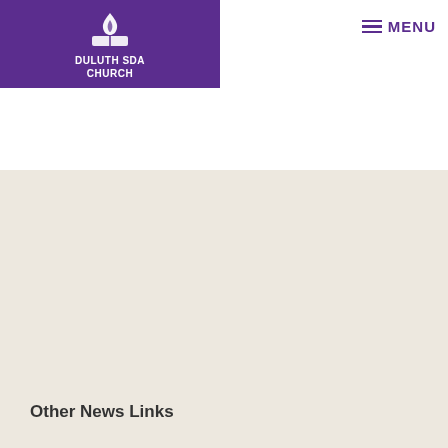[Figure (logo): Duluth SDA Church logo banner with purple background, white torch/flame icon with open book, and white bold text reading DULUTH SDA CHURCH]
MENU
Other News Links
G. Alexander Bryant Named North American Division President
I WILL GO
Adult Bible Study Guides (Quarterlies)